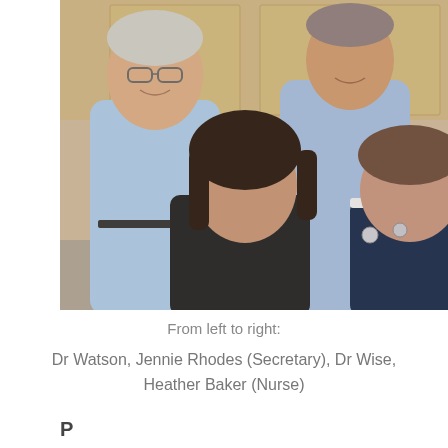[Figure (photo): Group photo of four medical professionals: two men standing in the back (left wearing glasses and blue shirt, right in blue shirt), and two women seated/crouching in the front (left with dark hair in black top, right in dark navy nurse uniform with badge). Background shows wooden cabinet doors.]
From left to right:

Dr Watson, Jennie Rhodes (Secretary), Dr Wise, Heather Baker (Nurse)